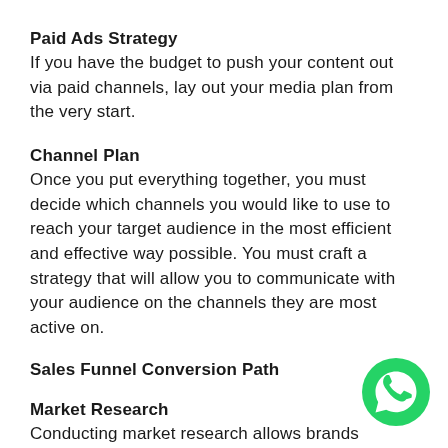Paid Ads Strategy
If you have the budget to push your content out via paid channels, lay out your media plan from the very start.
Channel Plan
Once you put everything together, you must decide which channels you would like to use to reach your target audience in the most efficient and effective way possible. You must craft a strategy that will allow you to communicate with your audience on the channels they are most active on.
Sales Funnel Conversion Path
Market Research
Conducting market research allows brands acquire knowledge on their audience's
[Figure (logo): WhatsApp green circular icon with white phone handset symbol]